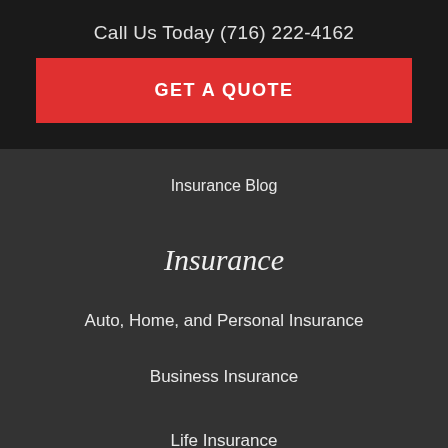Call Us Today (716) 222-4162
GET A QUOTE
Insurance Blog
Insurance
Auto, Home, and Personal Insurance
Business Insurance
Life Insurance